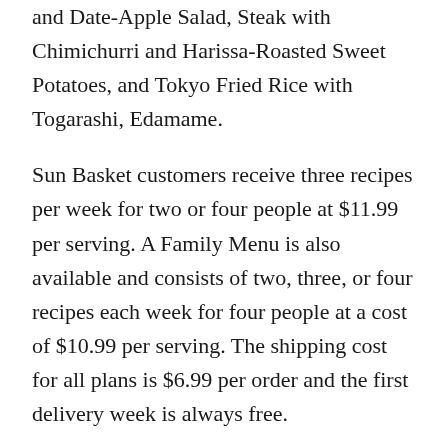and Date-Apple Salad, Steak with Chimichurri and Harissa-Roasted Sweet Potatoes, and Tokyo Fried Rice with Togarashi, Edamame.
Sun Basket customers receive three recipes per week for two or four people at $11.99 per serving. A Family Menu is also available and consists of two, three, or four recipes each week for four people at a cost of $10.99 per serving. The shipping cost for all plans is $6.99 per order and the first delivery week is always free.
There is no commitment, so customers can skip a week, double up on a recipe or cancel anytime. Sun Basket also offers a unique "100% mouthwatering or your money back" guarantee.